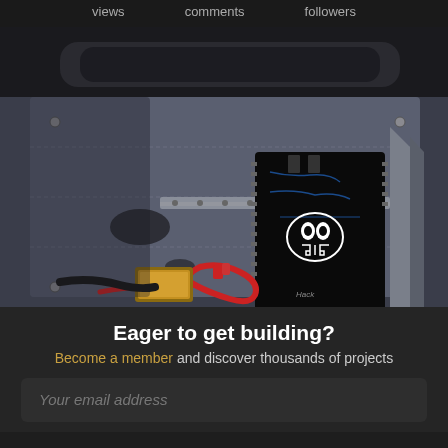views  comments  followers
[Figure (illustration): Digital illustration of electronics/circuit board with skull logo, red and black wires, yellow component, green LED, mounted inside a metal panel. Cyberpunk/hacker aesthetic artwork.]
Eager to get building?
Become a member and discover thousands of projects
Your email address